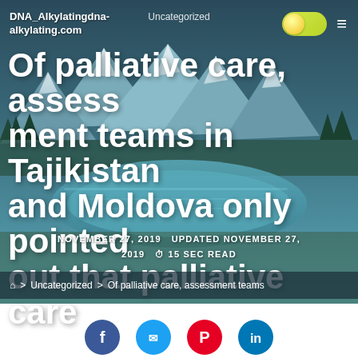DNA_Alkylatingdna-alkylating.com
Uncategorized
Of palliative care, assessment teams in Tajikistan and Moldova only pointed out that palliative care
NOVEMBER 27, 2019   UPDATED NOVEMBER 27, 2019   15 SEC READ
> Uncategorized > Of palliative care, assessment teams